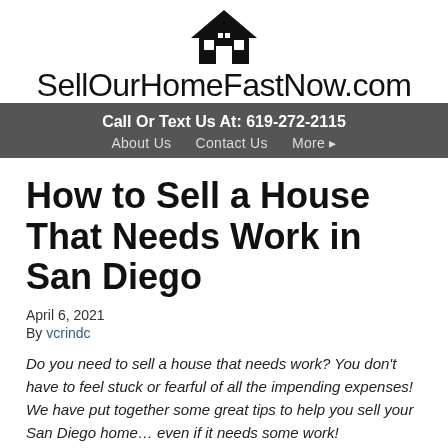SellOurHomeFastNow.com
Call Or Text Us At: 619-272-2115
About Us   Contact Us   More ▸
How to Sell a House That Needs Work in San Diego
April 6, 2021
By vcrindc
Do you need to sell a house that needs work? You don't have to feel stuck or fearful of all the impending expenses! We have put together some great tips to help you sell your San Diego home… even if it needs some work!